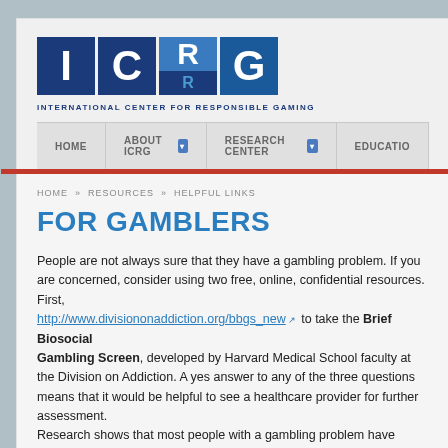[Figure (logo): ICRG - International Center for Responsible Gaming logo with blue block letters I, C, R, G]
HOME | ABOUT ICRG | RESEARCH CENTER | EDUCATION
HOME » RESOURCES » HELPFUL LINKS
FOR GAMBLERS
People are not always sure that they have a gambling problem. If you are concerned, consider using two free, online, confidential resources. First, visit http://www.divisiononaddiction.org/bbgs_new to take the Brief Biosocial Gambling Screen, developed by Harvard Medical School faculty at the Division on Addiction. A yes answer to any of the three questions means that it would be helpful to see a healthcare provider for further assessment. Research shows that most people with a gambling problem have another psychiatric condition.